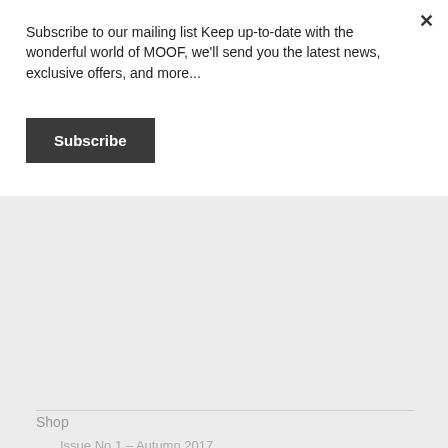Subscribe to our mailing list Keep up-to-date with the wonderful world of MOOF, we'll send you the latest news, exclusive offers, and more...
Subscribe
Shop
Issue No.1 – Autumn 2017
Issue No.2 – Winter 2017
Issue No. 3 – Spring 2018
Issue No. 4 – Summer 2018
Issue No. 5 – Autumn 2018
Advertisements
[Figure (infographic): DuckDuckGo advertisement banner: orange background with text 'Search, browse, and email with more privacy. All in One Free App' and DuckDuckGo logo on dark background]